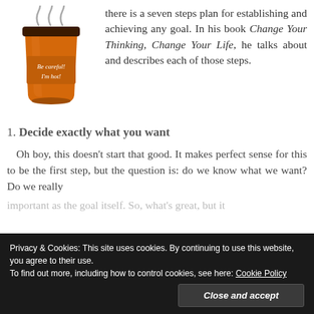[Figure (illustration): Hot coffee cup illustration with steam, orange cup with text 'Be careful! I'm hot!']
there is a seven steps plan for establishing and achieving any goal. In his book Change Your Thinking, Change Your Life, he talks about and describes each of those steps.
1. Decide exactly what you want
Oh boy, this doesn't start that good. It makes perfect sense for this to be the first step, but the question is: do we know what we want? Do we really
important as the goal itself. So, what's great, but it
Privacy & Cookies: This site uses cookies. By continuing to use this website, you agree to their use.
To find out more, including how to control cookies, see here: Cookie Policy